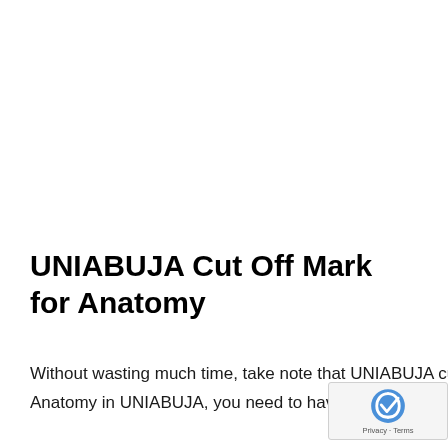UNIABUJA Cut Off Mark for Anatomy
Without wasting much time, take note that UNIABUJA cut off mark for Anatomy is 180. To gain admission to study Anatomy in UNIABUJA, you need to have scored exactly 180 or above in JAMB before you can qualify